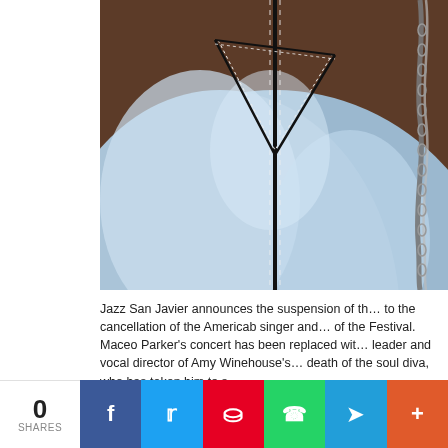[Figure (photo): Close-up photograph of a light blue acid-wash denim jacket with white stitching details and a metallic chain accessory on a dark brown background.]
Jazz San Javier announces the suspension of th… to the cancellation of the Americab singer and… of the Festival.
Maceo Parker's concert has been replaced wit… leader and vocal director of Amy Winehouse's… death of the soul diva, who has taken him to s…